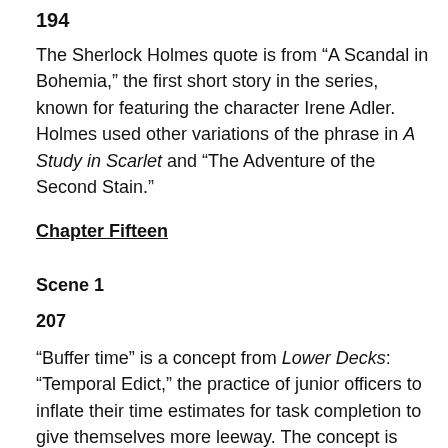194
The Sherlock Holmes quote is from “A Scandal in Bohemia,” the first short story in the series, known for featuring the character Irene Adler. Holmes used other variations of the phrase in A Study in Scarlet and “The Adventure of the Second Stain.”
Chapter Fifteen
Scene 1
207
“Buffer time” is a concept from Lower Decks: “Temporal Edict,” the practice of junior officers to inflate their time estimates for task completion to give themselves more leeway. The concept is supposedly unknown to senior officers, but since most senior officers started out as junior